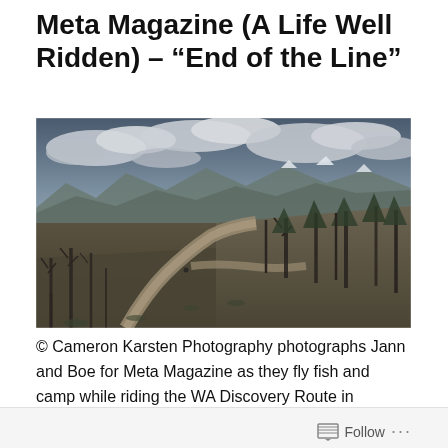Meta Magazine (A Life Well Ridden) – “End of the Line”
[Figure (photo): Aerial/elevated view of a dirt road winding through a burnt forest hillside with mountains and dramatic cloudy sky in the background, Washington State landscape.]
© Cameron Karsten Photography photographs Jann and Boe for Meta Magazine as they fly fish and camp while riding the WA Discovery Route in Washington State
Follow